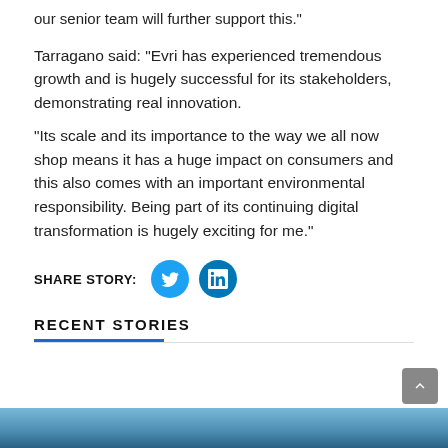our senior team will further support this.
Tarragano said: “Evri has experienced tremendous growth and is hugely successful for its stakeholders, demonstrating real innovation.
“Its scale and its importance to the way we all now shop means it has a huge impact on consumers and this also comes with an important environmental responsibility. Being part of its continuing digital transformation is hugely exciting for me.”
SHARE STORY:
RECENT STORIES